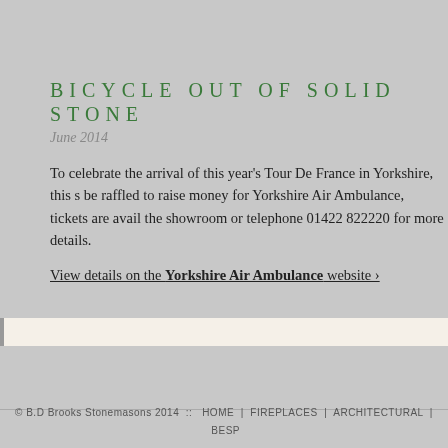BICYCLE OUT OF SOLID STONE
June 2014
To celebrate the arrival of this year's Tour De France in Yorkshire, this s be raffled to raise money for Yorkshire Air Ambulance, tickets are avail the showroom or telephone 01422 822220 for more details.
View details on the Yorkshire Air Ambulance website ›
© B.D Brooks Stonemasons 2014  ::  HOME  |  FIREPLACES  |  ARCHITECTURAL  |  BESP